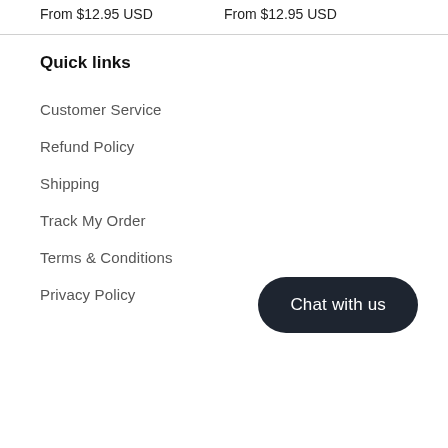From $12.95 USD    From $12.95 USD
Quick links
Customer Service
Refund Policy
Shipping
Track My Order
Terms & Conditions
Privacy Policy
Chat with us